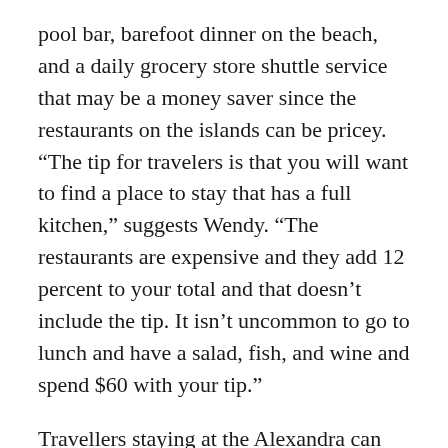pool bar, barefoot dinner on the beach, and a daily grocery store shuttle service that may be a money saver since the restaurants on the islands can be pricey. “The tip for travelers is that you will want to find a place to stay that has a full kitchen,” suggests Wendy. “The restaurants are expensive and they add 12 percent to your total and that doesn’t include the tip. It isn’t uncommon to go to lunch and have a salad, fish, and wine and spend $60 with your tip.”
Travellers staying at the Alexandra can take advantage of the spa where men and women get pampered with vitamin C-infused facials, a sea algae wrap, or a manicure guaranteed to smooth the roughest of hands. The resort also offers many excursions including private charters with customized itineraries, a full-day dream getaway, and the half-day snorkel and conch cruise. “They do lots of boat tours,” says Wendy. “You can choose a half or full day to go snorkeling for a conch